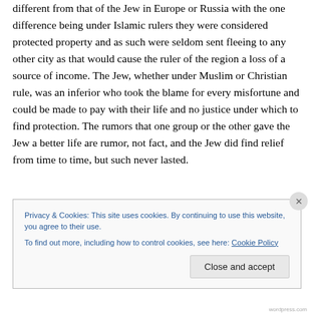different from that of the Jew in Europe or Russia with the one difference being under Islamic rulers they were considered protected property and as such were seldom sent fleeing to any other city as that would cause the ruler of the region a loss of a source of income. The Jew, whether under Muslim or Christian rule, was an inferior who took the blame for every misfortune and could be made to pay with their life and no justice under which to find protection. The rumors that one group or the other gave the Jew a better life are rumor, not fact, and the Jew did find relief from time to time, but such never lasted.
Privacy & Cookies: This site uses cookies. By continuing to use this website, you agree to their use.
To find out more, including how to control cookies, see here: Cookie Policy
Close and accept